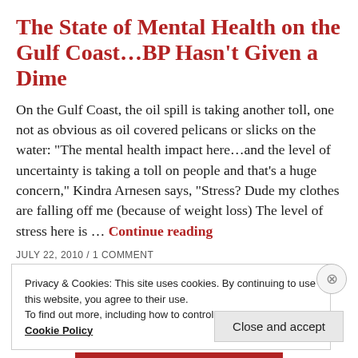The State of Mental Health on the Gulf Coast...BP Hasn't Given a Dime
On the Gulf Coast, the oil spill is taking another toll, one not as obvious as oil covered pelicans or slicks on the water: “The mental health impact here…and the level of uncertainty is taking a toll on people and that’s a huge concern,” Kindra Arnesen says, “Stress? Dude my clothes are falling off me (because of weight loss) The level of stress here is … Continue reading
JULY 22, 2010 / 1 COMMENT
Privacy & Cookies: This site uses cookies. By continuing to use this website, you agree to their use.
To find out more, including how to control cookies, see here: Cookie Policy
Close and accept